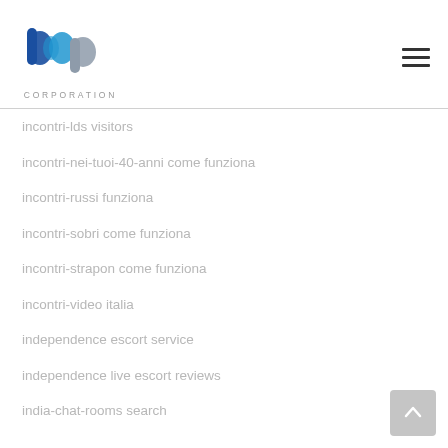[Figure (logo): bbp Corporation logo with stylized blue and gray letters and 'CORPORATION' text below]
incontri-lds visitors
incontri-nei-tuoi-40-anni come funziona
incontri-russi funziona
incontri-sobri come funziona
incontri-strapon come funziona
incontri-video italia
independence escort service
independence live escort reviews
india-chat-rooms search